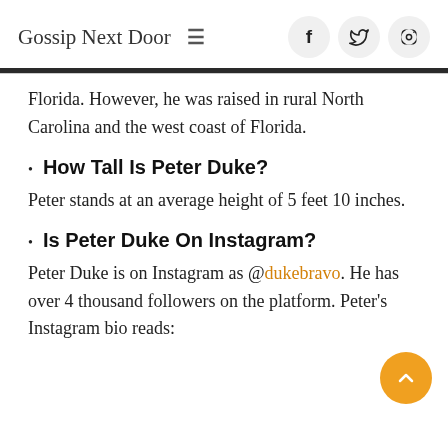Gossip Next Door
Florida. However, he was raised in rural North Carolina and the west coast of Florida.
How Tall Is Peter Duke?
Peter stands at an average height of 5 feet 10 inches.
Is Peter Duke On Instagram?
Peter Duke is on Instagram as @dukebravo. He has over 4 thousand followers on the platform. Peter's Instagram bio reads: